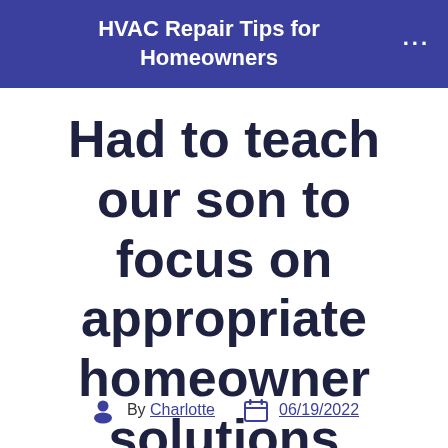HVAC Repair Tips for Homeowners
Had to teach our son to focus on appropriate homeowner solutions
By Charlotte  06/19/2022